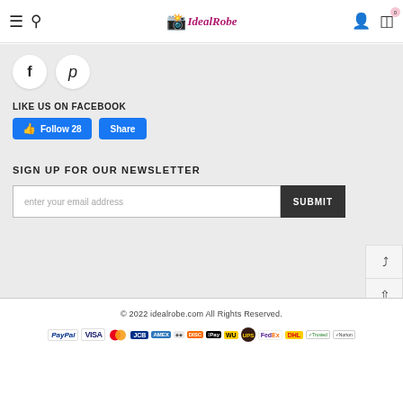IdealRobe — navigation header with hamburger menu, search, logo, account and cart icons
[Figure (infographic): Social media circle buttons: Facebook (f) and Pinterest (p)]
LIKE US ON FACEBOOK
[Figure (infographic): Facebook Follow 28 and Share buttons]
SIGN UP FOR OUR NEWSLETTER
[Figure (infographic): Email input field with placeholder 'enter your email address' and SUBMIT button]
© 2022 idealrobe.com All Rights Reserved.
[Figure (infographic): Payment method logos: PayPal, VISA, Mastercard, JCB, American Express, Diners, Discover, Apple Pay, Western Union, UPS, FedEx, DHL, Trusted, Norton]